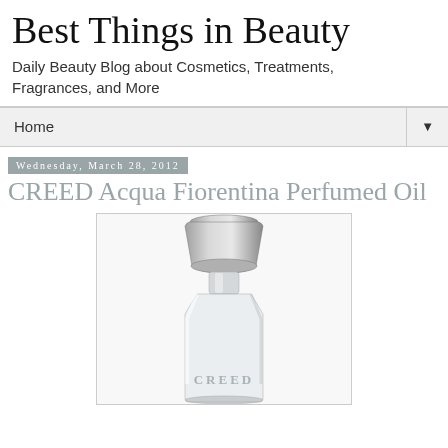Best Things in Beauty
Daily Beauty Blog about Cosmetics, Treatments, Fragrances, and More
Home
Wednesday, March 28, 2012
CREED Acqua Fiorentina Perfumed Oil
[Figure (photo): CREED perfume bottle with silver/chrome cap and clear glass bottle body with CREED branding embossed at the bottom]